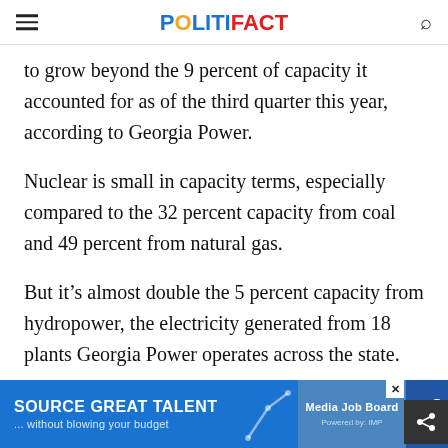POLITIFACT
to grow beyond the 9 percent of capacity it accounted for as of the third quarter this year, according to Georgia Power.
Nuclear is small in capacity terms, especially compared to the 32 percent capacity from coal and 49 percent from natural gas.
But it’s almost double the 5 percent capacity from hydropower, the electricity generated from 18 plants Georgia Power operates across the state.
[Figure (other): Advertisement banner: SOURCE GREAT TALENT ...without blowing your budget, Media Job Board, Only $199]